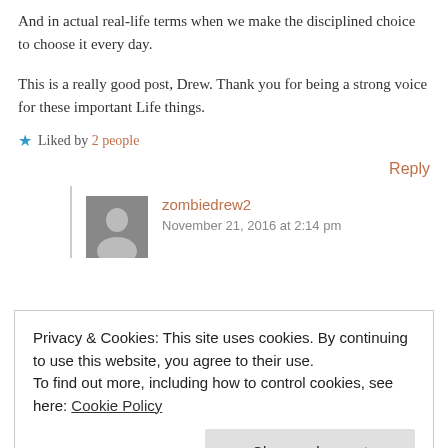And in actual real-life terms when we make the disciplined choice to choose it every day.
This is a really good post, Drew. Thank you for being a strong voice for these important Life things.
★ Liked by 2 people
Reply
zombiedrew2
November 21, 2016 at 2:14 pm
Privacy & Cookies: This site uses cookies. By continuing to use this website, you agree to their use.
To find out more, including how to control cookies, see here: Cookie Policy
Close and accept
senses, and our own lens of perception. So